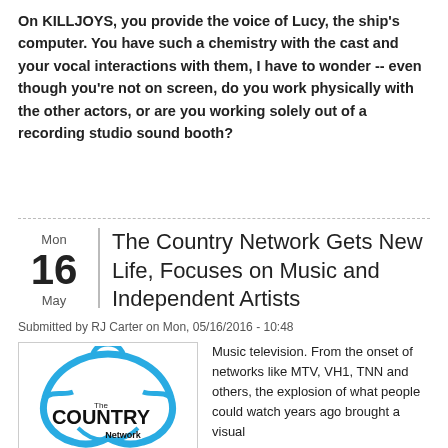On KILLJOYS, you provide the voice of Lucy, the ship's computer. You have such a chemistry with the cast and your vocal interactions with them, I have to wonder -- even though you're not on screen, do you work physically with the other actors, or are you working solely out of a recording studio sound booth?
The Country Network Gets New Life, Focuses on Music and Independent Artists
Submitted by RJ Carter on Mon, 05/16/2016 - 10:48
[Figure (logo): The Country Network logo — a blue guitar silhouette outline with 'The COUNTRY Network' text in black bold lettering inside]
Music television. From the onset of networks like MTV, VH1, TNN and others, the explosion of what people could watch years ago brought a visual